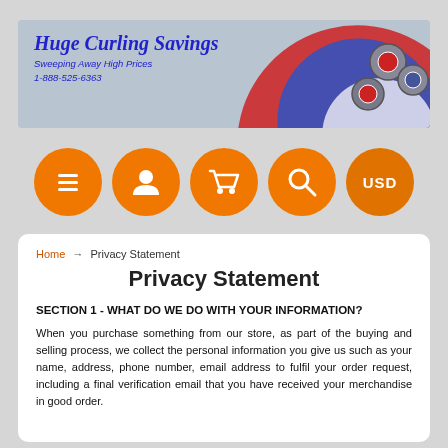[Figure (illustration): Huge Curling Savings website header banner with curling stones and arc logo. Text reads: Huge Curling Savings, Sweeping Away High Prices, 1-888-525-6363]
[Figure (illustration): Navigation bar with five orange circular buttons: menu (hamburger), account (person), cart (shopping cart), search (magnifying glass), and USD currency selector]
Home → Privacy Statement
Privacy Statement
SECTION 1 - WHAT DO WE DO WITH YOUR INFORMATION?
When you purchase something from our store, as part of the buying and selling process, we collect the personal information you give us such as your name, address, phone number, email address to fulfil your order request, including a final verification email that you have received your merchandise in good order.